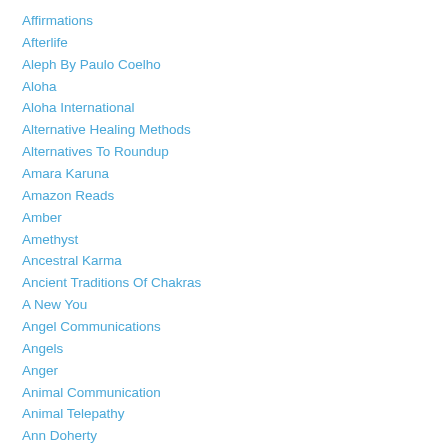Affirmations
Afterlife
Aleph By Paulo Coelho
Aloha
Aloha International
Alternative Healing Methods
Alternatives To Roundup
Amara Karuna
Amazon Reads
Amber
Amethyst
Ancestral Karma
Ancient Traditions Of Chakras
A New You
Angel Communications
Angels
Anger
Animal Communication
Animal Telepathy
Ann Doherty